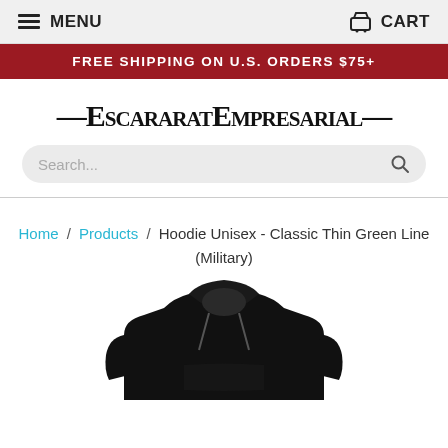MENU | CART
FREE SHIPPING ON U.S. ORDERS $75+
ESCARARATEMPRESARIAL
Search...
Home / Products / Hoodie Unisex - Classic Thin Green Line (Military)
[Figure (photo): Black unisex hoodie product photo, showing the top portion of a black pullover hoodie with drawstrings]